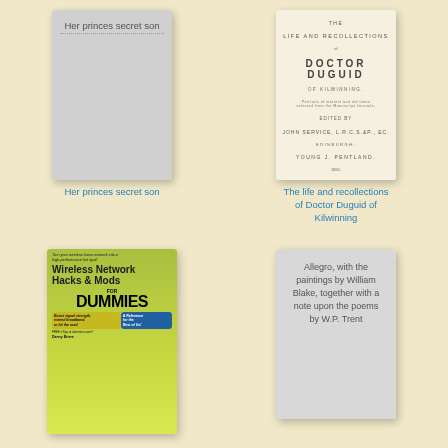[Figure (illustration): Book cover placeholder for 'Her princes secret son' — gray rectangle with title text]
Her princes secret son
[Figure (illustration): Book cover for 'The life and recollections of Doctor Duguid of Kilwinning' — cream/tan antique title page style with text]
The life and recollections of Doctor Duguid of Kilwinning
[Figure (illustration): Book cover for 'Wireless Network Hacks & Mods for Dummies' — yellow-green cover with bold black title and owl mascot]
[Figure (illustration): Book cover placeholder for 'Allegro, with the paintings by William Blake, together with a note upon the poems by W.P. Trent' — gray rectangle with title text]